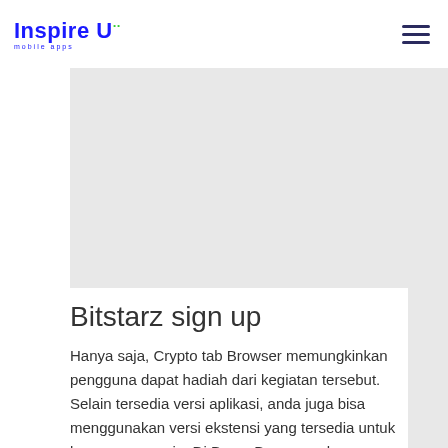Inspire U mobile apps
[Figure (other): Gray placeholder image area]
Bitstarz sign up
Hanya saja, Crypto tab Browser memungkinkan pengguna dapat hadiah dari kegiatan tersebut. Selain tersedia versi aplikasi, anda juga bisa menggunakan versi ekstensi yang tersedia untuk browser apa saja. Di Brave Browser ada program loyalty